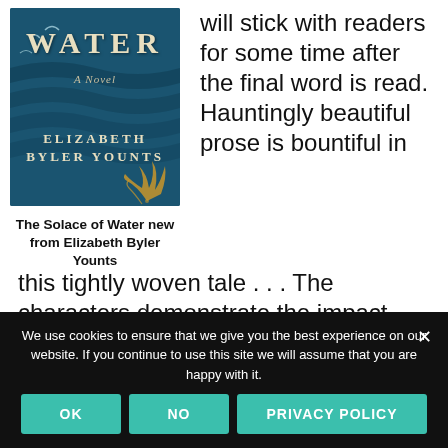[Figure (photo): Book cover of 'The Solace of Water' by Elizabeth Byler Younts — dark teal/blue background with birds, gold floral decoration, gold title text 'WATER', subtitle 'A Novel', and author name 'ELIZABETH BYLER YOUNTS']
The Solace of Water new from Elizabeth Byler Younts
will stick with readers for some time after the final word is read. Hauntingly beautiful prose is bountiful in this tightly woven tale . . . The characters demonstrate the impact secrets, guilt and unforgiveness can have on a person in this
We use cookies to ensure that we give you the best experience on our website. If you continue to use this site we will assume that you are happy with it.